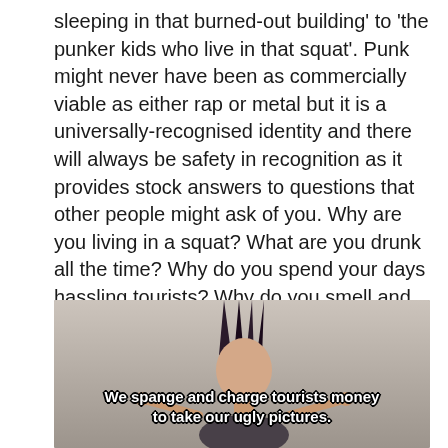sleeping in that burned-out building' to 'the punker kids who live in that squat'. Punk might never have been as commercially viable as either rap or metal but it is a universally-recognised identity and there will always be safety in recognition as it provides stock answers to questions that other people might ask of you. Why are you living in a squat? What are you drunk all the time? Why do you spend your days hassling tourists? Why do you smell and wear rags? Well… one answer is that you're a homeless derelict but another is that you're PUNK RAWK!
[Figure (photo): A photo of a punk person with a mohawk hairstyle, with subtitle text overlaid reading 'We spange and charge tourists money to take our ugly pictures.']